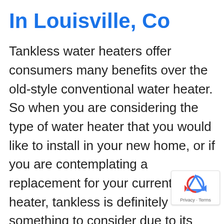In Louisville, Co
Tankless water heaters offer consumers many benefits over the old-style conventional water heater. So when you are considering the type of water heater that you would like to install in your new home, or if you are contemplating a replacement for your current water heater, tankless is definitely something to consider due to its longevity and energy efficiency. To learn more about these units and their benefits, a single call to the pros at Flatirons Plumbing is all that you need to do. With over 20